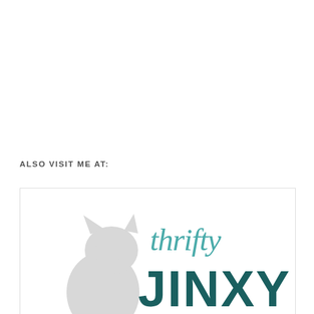ALSO VISIT ME AT:
[Figure (logo): Thrifty Jinxy logo featuring a white/light gray cat silhouette on the left and the text 'thrifty' in teal script above 'JINXY' in large dark teal bold capital letters]